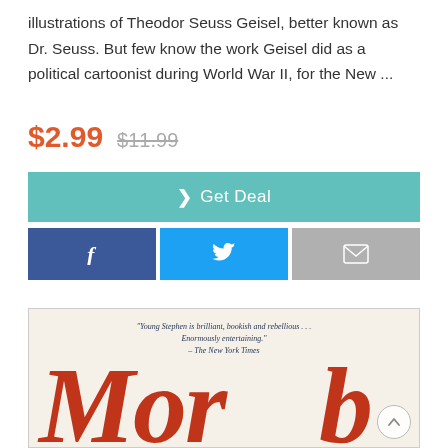illustrations of Theodor Seuss Geisel, better known as Dr. Seuss. But few know the work Geisel did as a political cartoonist during World War II, for the New ...
$2.99  $11.99
> Get Deal
[Figure (screenshot): Social share buttons: Facebook (dark blue), Twitter (blue), Email (gray)]
[Figure (photo): Book cover with cream background, quote 'Young Stephen is brilliant, bookish and rebellious... Enormously entertaining.' - The New York Times, and large red cursive title text at the bottom.]